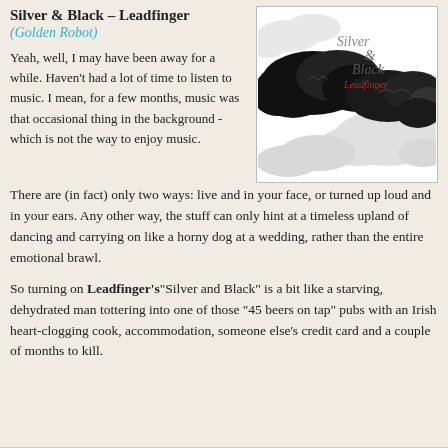Silver & Black – Leadfinger (Golden Robot)
[Figure (illustration): Album cover for Silver & Black by Leadfinger showing black and white illustrated clouds with the text 'Silver & Black' in stylized script and 'Leadfinger' in red below it]
Yeah, well, I may have been away for a while. Haven't had a lot of time to listen to music. I mean, for a few months, music was that occasional thing in the background - which is not the way to enjoy music. There are (in fact) only two ways: live and in your face, or turned up loud and in your ears. Any other way, the stuff can only hint at a timeless upland of dancing and carrying on like a horny dog at a wedding, rather than the entire emotional brawl.
So turning on Leadfinger's "Silver and Black" is a bit like a starving, dehydrated man tottering into one of those "45 beers on tap" pubs with an Irish heart-clogging cook, accommodation, someone else's credit card and a couple of months to kill.